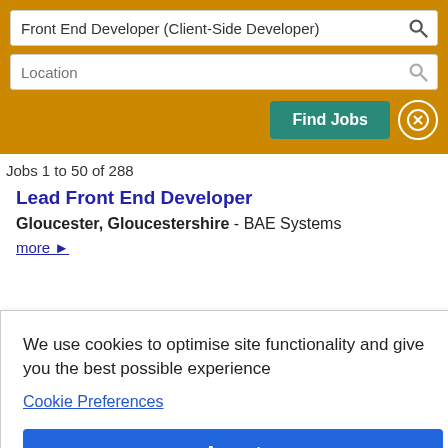Front End Developer (Client-Side Developer)
Location
Find Jobs
Jobs 1 to 50 of 288
Lead Front End Developer
Gloucester, Gloucestershire - BAE Systems
more ►
We use cookies to optimise site functionality and give you the best possible experience
Cookie Preferences
Accept
ons -
views
in the Front End that connect with the backend, all the